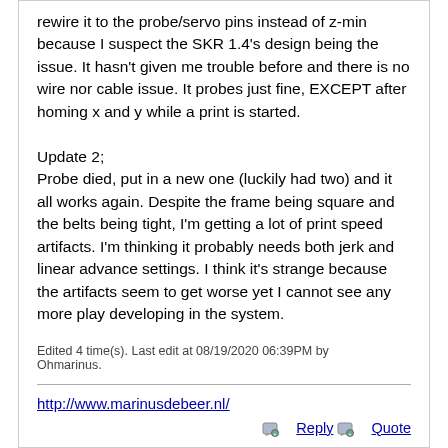rewire it to the probe/servo pins instead of z-min because I suspect the SKR 1.4's design being the issue. It hasn't given me trouble before and there is no wire nor cable issue. It probes just fine, EXCEPT after homing x and y while a print is started.

Update 2;
Probe died, put in a new one (luckily had two) and it all works again. Despite the frame being square and the belts being tight, I'm getting a lot of print speed artifacts. I'm thinking it probably needs both jerk and linear advance settings. I think it's strange because the artifacts seem to get worse yet I cannot see any more play developing in the system.
Edited 4 time(s). Last edit at 08/19/2020 06:39PM by Ohmarinus.
http://www.marinusdebeer.nl/
Reply  Quote
guru_florida  Registered: 2 years ago